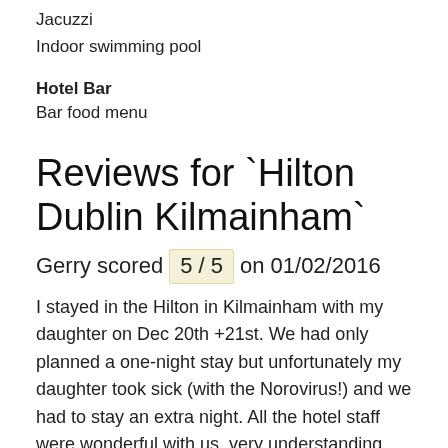Jacuzzi
Indoor swimming pool
Hotel Bar
Bar food menu
Reviews for `Hilton Dublin Kilmainham`
Gerry scored 5 / 5 on 01/02/2016
I stayed in the Hilton in Kilmainham with my daughter on Dec 20th +21st. We had only planned a one-night stay but unfortunately my daughter took sick (with the Norovirus!) and we had to stay an extra night. All the hotel staff were wonderful with us, very understanding and helpful. The staff on the desk made no issue of us not checking out as we should have done and organised us to have the same room for the second night. I would particularly like to single out Aurimas the night porter who could not have been